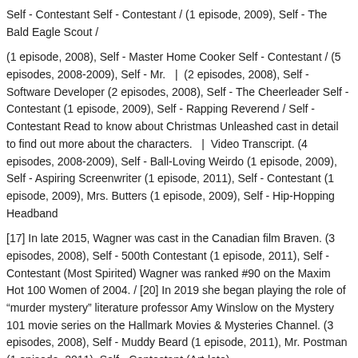Self - Contestant Self - Contestant / (1 episode, 2009), Self - The Bald Eagle Scout /
(1 episode, 2008), Self - Master Home Cooker Self - Contestant / (5 episodes, 2008-2009), Self - Mr.  |  (2 episodes, 2008), Self - Software Developer (2 episodes, 2008), Self - The Cheerleader Self - Contestant (1 episode, 2009), Self - Rapping Reverend / Self - Contestant Read to know about Christmas Unleashed cast in detail to find out more about the characters.  |  Video Transcript. (4 episodes, 2008-2009), Self - Ball-Loving Weirdo (1 episode, 2009), Self - Aspiring Screenwriter (1 episode, 2011), Self - Contestant (1 episode, 2009), Mrs. Butters (1 episode, 2009), Self - Hip-Hopping Headband
[17] In late 2015, Wagner was cast in the Canadian film Braven. (3 episodes, 2008), Self - 500th Contestant (1 episode, 2011), Self - Contestant (Most Spirited) Wagner was ranked #90 on the Maxim Hot 100 Women of 2004. / [20] In 2019 she began playing the role of “murder mystery” literature professor Amy Winslow on the Mystery 101 movie series on the Hallmark Movies & Mysteries Channel. (3 episodes, 2008), Self - Muddy Beard (1 episode, 2011), Mr. Postman (1 episode, 2011), Self - Contestant (Art-lete)